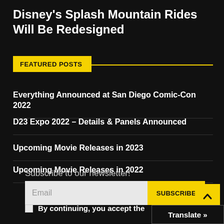Disney's Splash Mountain Rides Will Be Redesigned
FEATURED POSTS
Everything Announced at San Diego Comic-Con 2022
D23 Expo 2022 – Details & Panels Announced
Upcoming Movie Releases in 2023
Upcoming Movie Releases in 2022
Subscribe to our newsletter!
Email
SUBSCRIBE
By continuing, you accept the
Translate »